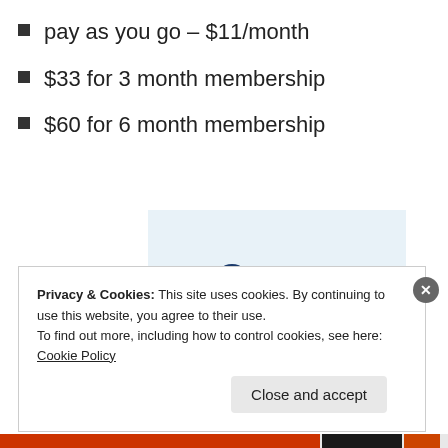pay as you go – $11/month
$33 for 3 month membership
$60 for 6 month membership
[Figure (logo): petiteBox logo with a dark blue balloon icon and the text 'petiteBox' in a serif font, displayed on a light blue background]
Privacy & Cookies: This site uses cookies. By continuing to use this website, you agree to their use.
To find out more, including how to control cookies, see here: Cookie Policy